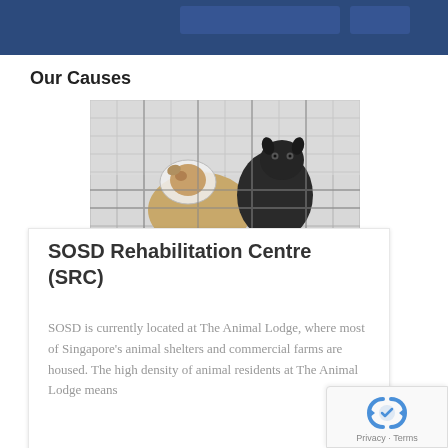[Figure (other): Dark blue banner/header bar at the top of the page]
Our Causes
[Figure (photo): Photo of two dogs in a cage/kennel — one with a cone collar (larger, tan/beige dog) and one black dog — taken against a grid fence background at an animal shelter]
SOSD Rehabilitation Centre (SRC)
SOSD is currently located at The Animal Lodge, where most of Singapore's animal shelters and commercial farms are housed. The high density of animal residents at The Animal Lodge means